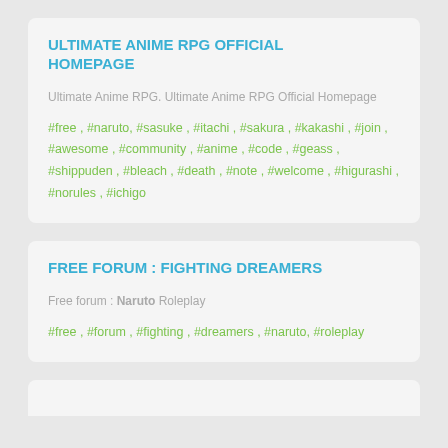ULTIMATE ANIME RPG OFFICIAL HOMEPAGE
Ultimate Anime RPG. Ultimate Anime RPG Official Homepage
#free , #naruto, #sasuke , #itachi , #sakura , #kakashi , #join , #awesome , #community , #anime , #code , #geass , #shippuden , #bleach , #death , #note , #welcome , #higurashi , #norules , #ichigo
FREE FORUM : FIGHTING DREAMERS
Free forum : Naruto Roleplay
#free , #forum , #fighting , #dreamers , #naruto, #roleplay